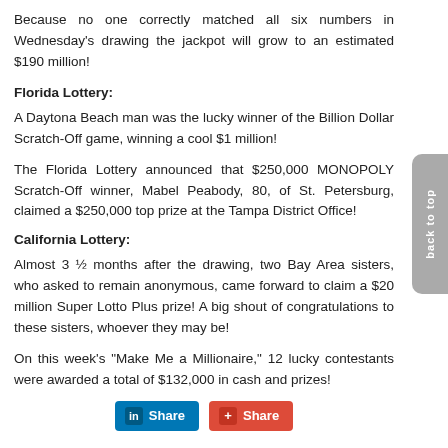Because no one correctly matched all six numbers in Wednesday's drawing the jackpot will grow to an estimated $190 million!
Florida Lottery:
A Daytona Beach man was the lucky winner of the Billion Dollar Scratch-Off game, winning a cool $1 million!
The Florida Lottery announced that $250,000 MONOPOLY Scratch-Off winner, Mabel Peabody, 80, of St. Petersburg, claimed a $250,000 top prize at the Tampa District Office!
California Lottery:
Almost 3 ½ months after the drawing, two Bay Area sisters, who asked to remain anonymous, came forward to claim a $20 million Super Lotto Plus prize! A big shout of congratulations to these sisters, whoever they may be!
On this week's "Make Me a Millionaire," 12 lucky contestants were awarded a total of $132,000 in cash and prizes!
[Figure (other): LinkedIn Share button and Google+ Share button side by side]